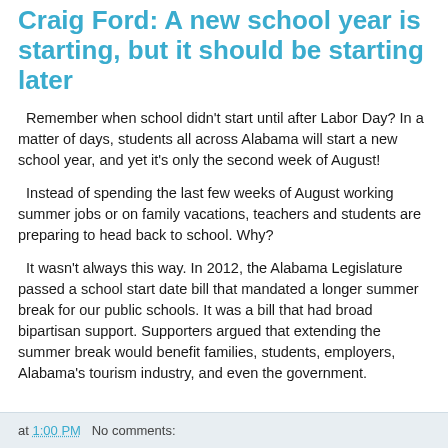Craig Ford: A new school year is starting, but it should be starting later
Remember when school didn't start until after Labor Day? In a matter of days, students all across Alabama will start a new school year, and yet it's only the second week of August!
Instead of spending the last few weeks of August working summer jobs or on family vacations, teachers and students are preparing to head back to school. Why?
It wasn't always this way. In 2012, the Alabama Legislature passed a school start date bill that mandated a longer summer break for our public schools. It was a bill that had broad bipartisan support. Supporters argued that extending the summer break would benefit families, students, employers, Alabama's tourism industry, and even the government.
at 1:00 PM   No comments: